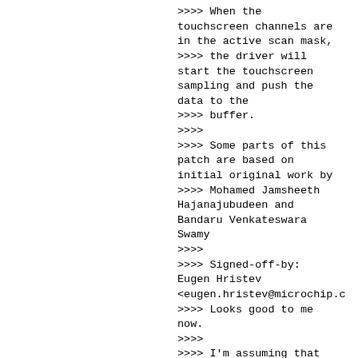>>>> When the touchscreen channels are in the active scan mask,
>>>> the driver will start the touchscreen sampling and push the data to the
>>>> buffer.
>>>>
>>>> Some parts of this patch are based on initial original work by
>>>> Mohamed Jamsheeth Hajanajubudeen and Bandaru Venkateswara Swamy
>>>>
>>>> Signed-off-by: Eugen Hristev <eugen.hristev@microchip.c
>>>> Looks good to me now.
>>>>
>>>> I'm assuming that once Dmitry and others are happy, I'll take the
>>>> series through the IIO tree. Will reply to the cover letter if the
>>>> rest of the patches